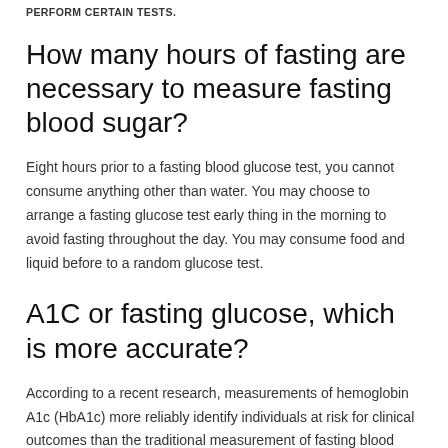PERFORM CERTAIN TESTS.
How many hours of fasting are necessary to measure fasting blood sugar?
Eight hours prior to a fasting blood glucose test, you cannot consume anything other than water. You may choose to arrange a fasting glucose test early thing in the morning to avoid fasting throughout the day. You may consume food and liquid before to a random glucose test.
A1C or fasting glucose, which is more accurate?
According to a recent research, measurements of hemoglobin A1c (HbA1c) more reliably identify individuals at risk for clinical outcomes than the traditional measurement of fasting blood